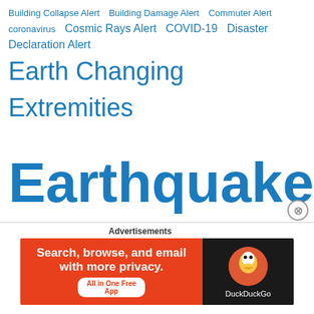Building Collapse Alert  Building Damage Alert  Commuter Alert  coronavirus  Cosmic Rays Alert  COVID-19  Disaster Declaration Alert  Earth Changing Extremities  Earthquake  Earthquake Alert  Emergency Alert  Europe  Evacuation Alert  Fish  Homeless Alert  ICELAND REGION  Magnetosphere Alert  Major Alert  nCoV2019  Quake Swarm  Quarantined Alert  Rain Alert  Rescue Alert  Ring Of Fire  Severe Flood Alert  Severe Weather Alert  Structural Damage Alert  USA  Vehicle Alert  Yellowstone
Advertisements
[Figure (other): DuckDuckGo advertisement banner: orange background with text 'Search, browse, and email with more privacy. All in One Free App' and DuckDuckGo logo on dark background]